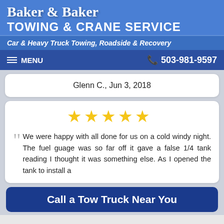Baker & Baker Towing & Crane Service
Car & Heavy Truck Towing, Roadside & Recovery
MENU   503-981-9597
Glenn C., Jun 3, 2018
[Figure (other): Five gold stars rating]
We were happy with all done for us on a cold windy night. The fuel guage was so far off it gave a false 1/4 tank reading I thought it was something else. As I opened the tank to install a
Call a Tow Truck Near You